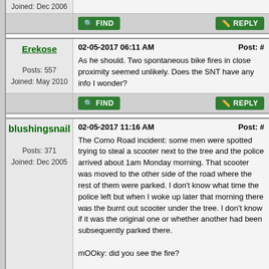Joined: Dec 2006
FIND  REPLY
Erekose
02-05-2017 06:11 AM   Post: #
As he should. Two spontaneous bike fires in close proximity seemed unlikely. Does the SNT have any info I wonder?
Posts: 557
Joined: May 2010
FIND  REPLY
blushingsnail
02-05-2017 11:16 AM   Post: #
The Como Road incident: some men were spotted trying to steal a scooter next to the tree and the police arrived about 1am Monday morning. That scooter was moved to the other side of the road where the rest of them were parked. I don't know what time the police left but when I woke up later that morning there was the burnt out scooter under the tree. I don't know if it was the original one or whether another had been subsequently parked there.

mOOky: did you see the fire?

The scooters (some if not all) belong to men who share a house in Como Road and are used for takeaway deliveries.
Posts: 371
Joined: Dec 2005